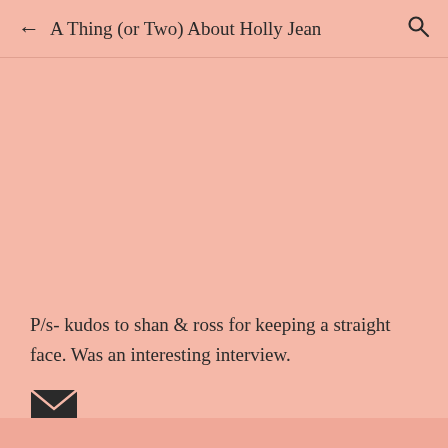A Thing (or Two) About Holly Jean
P/s- kudos to shan & ross for keeping a straight face. Was an interesting interview.